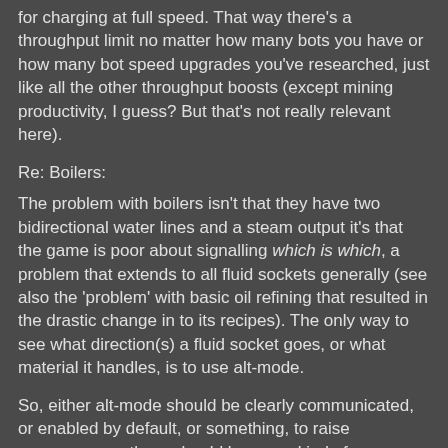for charging at full speed. That way there's a throughput limit no matter how many bots you have or how many bot speed upgrades you've researched, just like all the other throughput boosts (except mining productivity, I guess? But that's not really relevant here).
Re: Boilers:
The problem with boilers isn't that they have two bidirectional water lines and a steam output it's that the game is poor about signalling which is which, a problem that extends to all fluid sockets generally (see also the 'problem' with basic oil refining that resulted in the drastic change in to its recipes). The only way to see what direction(s) a fluid socket goes, or what material it handles, is to use alt-mode.
So, either alt-mode should be clearly communicated, or enabled by default, or something, to raise awareness, or there should be some kind of immediately obvious indicator on the entity sprites as to what is what. Boilers being chainable and their T layout are not aspects I am keen to lose and I much prefer the current system to the old one.